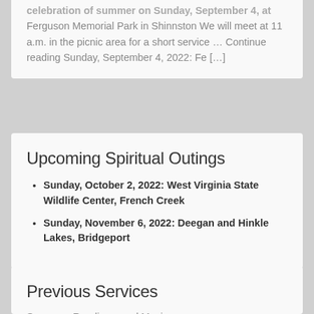celebration of summer on Sunday, September 4, at Ferguson Memorial Park in Shinnston We will meet at 11 a.m. in the picnic area for a short service … Continue reading Sunday, September 4, 2022: Fe […]
Upcoming Spiritual Outings
Sunday, October 2, 2022: West Virginia State Wildlife Center, French Creek
Sunday, November 6, 2022: Deegan and Hinkle Lakes, Bridgeport
Previous Services
Sermons, Readings, and Music